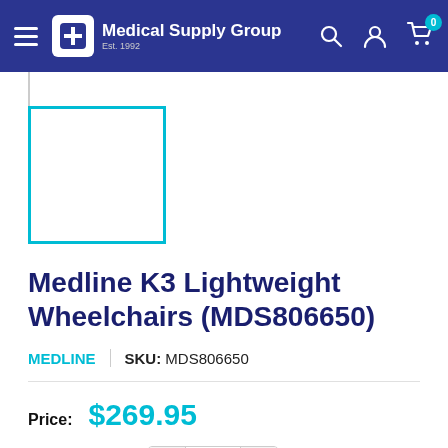Medical Supply Group — Est. 1992
[Figure (illustration): Product image placeholder — cyan/teal bordered white rectangle]
Medline K3 Lightweight Wheelchairs (MDS806650)
MEDLINE | SKU: MDS806650
Price: $269.95